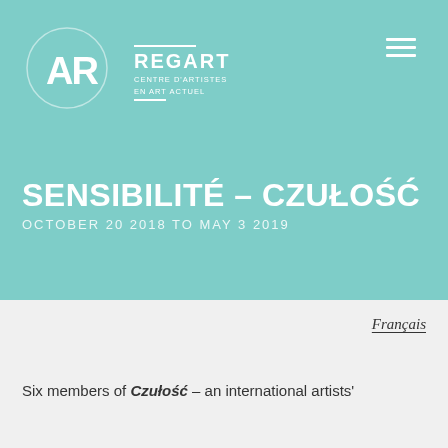[Figure (logo): REGART Centre d'artistes en art actuel logo — circular emblem with stylized AR letterform on teal background, with wordmark REGART and subtitle CENTRE D'ARTISTES EN ART ACTUEL]
SENSIBILITÉ – CZUŁOŚĆ
OCTOBER 20 2018 TO MAY 3 2019
Français
Six members of Czułość – an international artists'